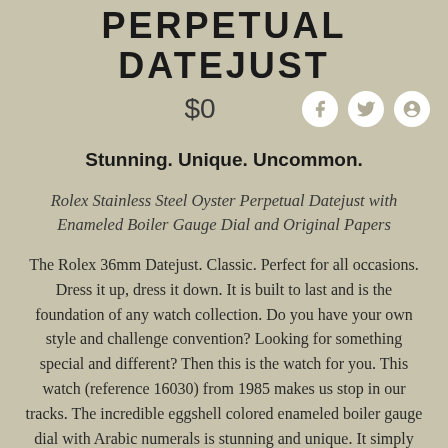PERPETUAL DATEJUST
$0
Stunning. Unique. Uncommon.
Rolex Stainless Steel Oyster Perpetual Datejust with Enameled Boiler Gauge Dial and Original Papers
The Rolex 36mm Datejust. Classic. Perfect for all occasions. Dress it up, dress it down. It is built to last and is the foundation of any watch collection. Do you have your own style and challenge convention? Looking for something special and different? Then this is the watch for you. This watch (reference 16030) from 1985 makes us stop in our tracks. The incredible eggshell colored enameled boiler gauge dial with Arabic numerals is stunning and unique. It simply works and feels different than a traditional Rolex Datejust. It comes fitted on a Rolex Jubilee